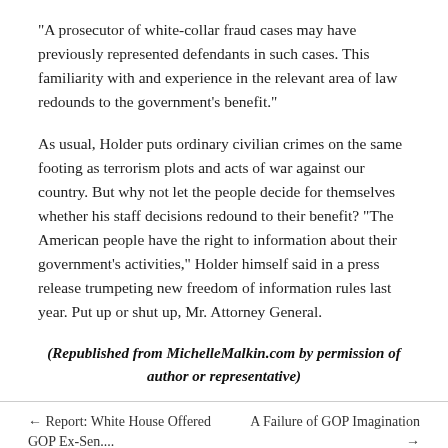“A prosecutor of white-collar fraud cases may have previously represented defendants in such cases. This familiarity with and experience in the relevant area of law redounds to the government’s benefit.”
As usual, Holder puts ordinary civilian crimes on the same footing as terrorism plots and acts of war against our country. But why not let the people decide for themselves whether his staff decisions redound to their benefit? “The American people have the right to information about their government’s activities,” Holder himself said in a press release trumpeting new freedom of information rules last year. Put up or shut up, Mr. Attorney General.
(Republished from MichelleMalkin.com by permission of author or representative)
← Report: White House Offered GOP Ex-Sen....        A Failure of GOP Imagination →